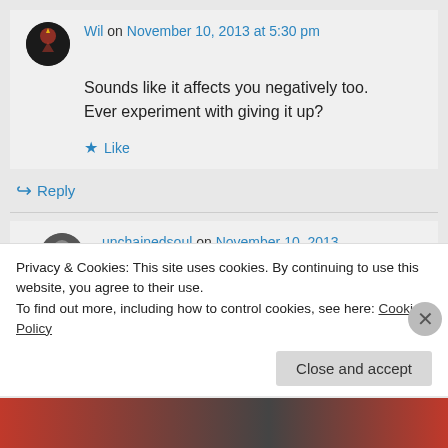Wil on November 10, 2013 at 5:30 pm
Sounds like it affects you negatively too. Ever experiment with giving it up?
★ Like
↳ Reply
unchainedsoul on November 10, 2013 at 5:48 pm
Privacy & Cookies: This site uses cookies. By continuing to use this website, you agree to their use. To find out more, including how to control cookies, see here: Cookie Policy
Close and accept